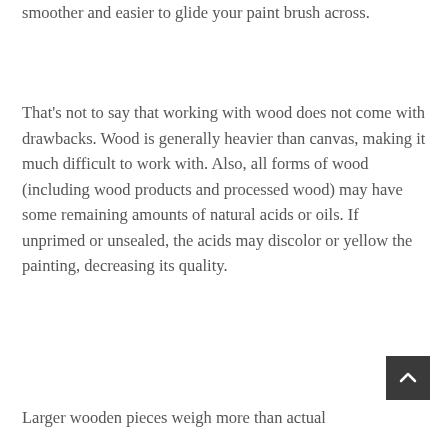smoother and easier to glide your paint brush across.
That's not to say that working with wood does not come with drawbacks. Wood is generally heavier than canvas, making it much difficult to work with. Also, all forms of wood (including wood products and processed wood) may have some remaining amounts of natural acids or oils. If unprimed or unsealed, the acids may discolor or yellow the painting, decreasing its quality.
Larger wooden pieces weigh more than actual